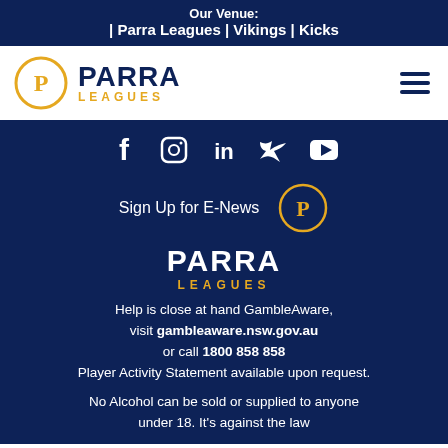Our Venue: | Parra Leagues | Vikings | Kicks
[Figure (logo): Parra Leagues logo with circular P emblem and hamburger menu icon]
[Figure (infographic): Social media icons: Facebook, Instagram, LinkedIn, Twitter, YouTube]
Sign Up for E-News
[Figure (logo): Parra Leagues footer logo with circular P emblem, PARRA LEAGUES text]
Help is close at hand GambleAware, visit gambleaware.nsw.gov.au or call 1800 858 858 Player Activity Statement available upon request.
No Alcohol can be sold or supplied to anyone under 18. It's against the law